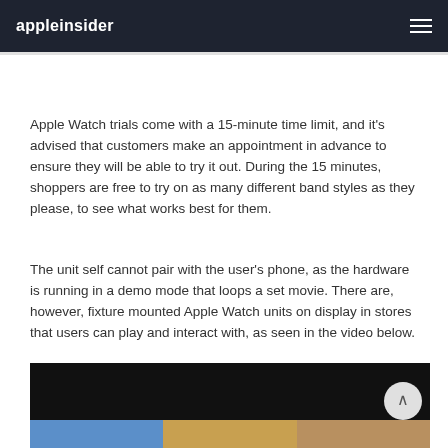appleinsider
Apple Watch trials come with a 15-minute time limit, and it's advised that customers make an appointment in advance to ensure they will be able to try it out. During the 15 minutes, shoppers are free to try on as many different band styles as they please, to see what works best for them.
The unit self cannot pair with the user's phone, as the hardware is running in a demo mode that loops a set movie. There are, however, fixture mounted Apple Watch units on display in stores that users can play and interact with, as seen in the video below.
[Figure (screenshot): Video player showing Apple Watch demonstration footage with a dark top portion and colored thumbnail strip at the bottom showing blue, yellow, and tan sections. A scroll-to-top button is visible in the lower right.]